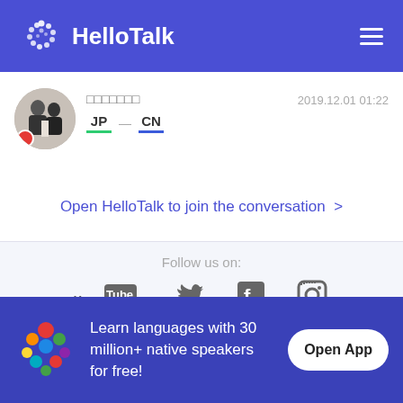HelloTalk
[Figure (screenshot): User profile row: avatar photo of two people, username in Japanese, JP -> CN language badges, timestamp 2019.12.01 01:22]
Open HelloTalk to join the conversation  >
Follow us on:
[Figure (logo): Social media icons: YouTube, Twitter, Facebook, Instagram]
Learn languages with 30 million+ native speakers for free!
Open App